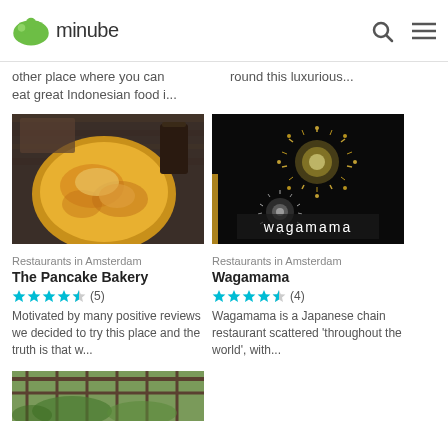minube
other place where you can eat great Indonesian food i...
round this luxurious...
[Figure (photo): Photo of a pancake dish in a round pan on a wooden table with drinks]
Restaurants in Amsterdam
The Pancake Bakery
★★★★½ (5)
Motivated by many positive reviews we decided to try this place and the truth is that w...
[Figure (photo): Photo of wagamama restaurant sign with decorative spherical lights]
Restaurants in Amsterdam
Wagamama
★★★★½ (4)
Wagamama is a Japanese chain restaurant scattered 'throughout the world', with...
[Figure (photo): Partial photo of a garden terrace with overhead pergola structure]